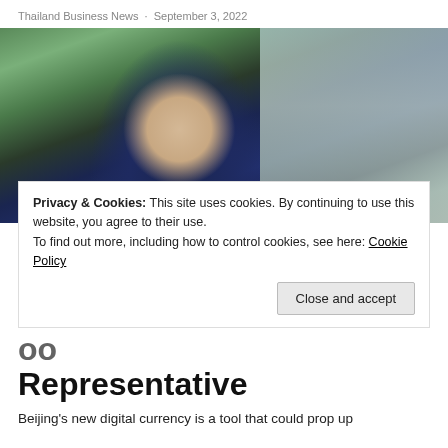Thailand Business News · September 3, 2022
[Figure (photo): Professional man in dark suit sitting in front of greenery and glass doors]
Privacy & Cookies: This site uses cookies. By continuing to use this website, you agree to their use.
To find out more, including how to control cookies, see here: Cookie Policy
…oo Representative
Beijing's new digital currency is a tool that could prop up the…